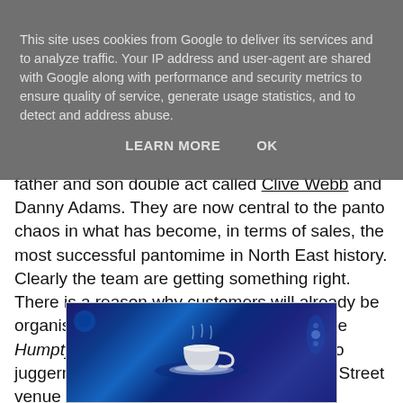This site uses cookies from Google to deliver its services and to analyze traffic. Your IP address and user-agent are shared with Google along with performance and security metrics to ensure quality of service, generate usage statistics, and to detect and address abuse.
LEARN MORE    OK
father and son double act called Clive Webb and Danny Adams. They are now central to the panto chaos in what has become, in terms of sales, the most successful pantomime in North East history. Clearly the team are getting something right. There is a reason why customers will already be organising tickets for next year's pantomime Humpty Dumpty. So, what makes the panto juggernaut that rolls into Newcastle's Grey Street venue every year such a massive draw?
[Figure (photo): A photograph with vivid blue lighting showing a teacup balanced on what appears to be a decorative surface, with blue and green theatrical lighting effects creating a fantastical pantomime scene.]